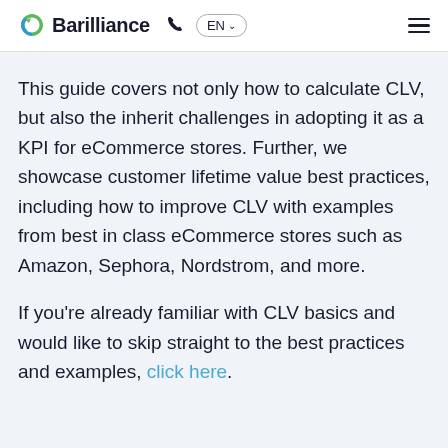Barilliance EN
This guide covers not only how to calculate CLV, but also the inherit challenges in adopting it as a KPI for eCommerce stores. Further, we showcase customer lifetime value best practices, including how to improve CLV with examples from best in class eCommerce stores such as Amazon, Sephora, Nordstrom, and more.
If you're already familiar with CLV basics and would like to skip straight to the best practices and examples, click here.